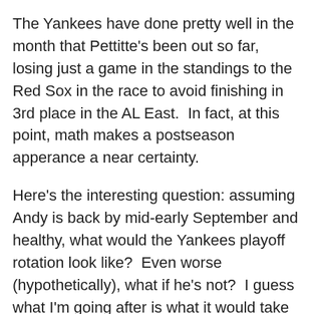The Yankees have done pretty well in the month that Pettitte's been out so far, losing just a game in the standings to the Red Sox in the race to avoid finishing in 3rd place in the AL East.  In fact, at this point, math makes a postseason apperance a near certainty.
Here's the interesting question: assuming Andy is back by mid-early September and healthy, what would the Yankees playoff rotation look like?  Even worse (hypothetically), what if he's not?  I guess what I'm going after is what it would take to see Phil Hughes in the playoff rotation, because at this point, he's really been the Yankees second best starter this season, performance and durability considered.
Hughes is probably due 6-7 more starts before the